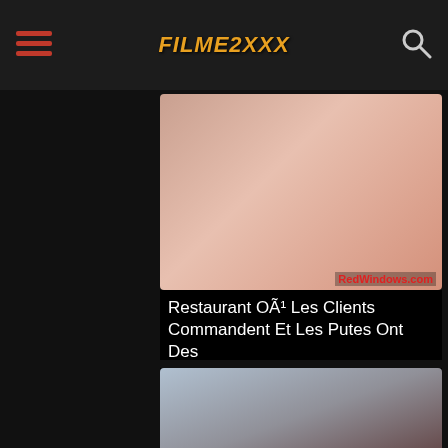FILME2XXX
[Figure (screenshot): Thumbnail image for adult video with RedWindows.com watermark]
Restaurant OÃ¹ Les Clients Commandent Et Les Putes Ont Des
[Figure (screenshot): Thumbnail image for adult video with watermark]
Sexe Lesbien A ContinuÃ© Ã  Baiser Avec Trois Putains De Gyp